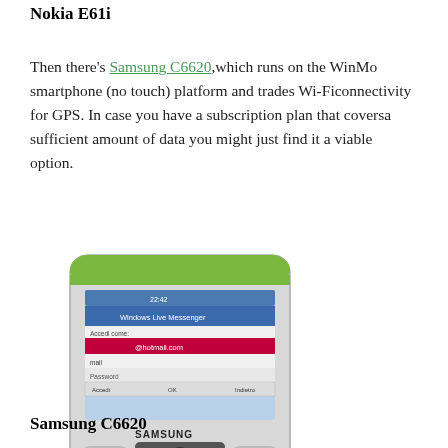Nokia E61i
Then there's Samsung C6620, which runs on the WinMo smartphone (no touch) platform and trades Wi-Fi connectivity for GPS. In case you have a subscription plan that coversa sufficient amount of data you might just find it a viable option.
[Figure (photo): Photo of a Samsung C6620 smartphone with a QWERTY keyboard, showing a Windows Live Messenger login screen on the display, with a green trim around the top.]
Samsung C6620